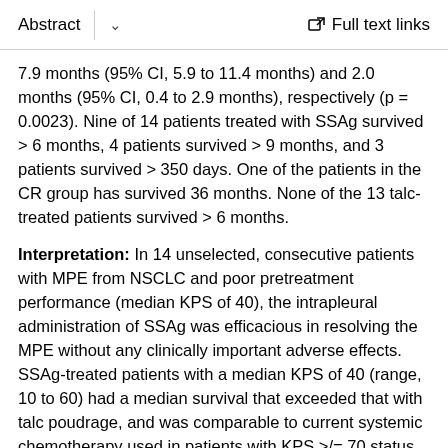Abstract   ⌄   Full text links
7.9 months (95% CI, 5.9 to 11.4 months) and 2.0 months (95% CI, 0.4 to 2.9 months), respectively (p = 0.0023). Nine of 14 patients treated with SSAg survived > 6 months, 4 patients survived > 9 months, and 3 patients survived > 350 days. One of the patients in the CR group has survived 36 months. None of the 13 talc-treated patients survived > 6 months.
Interpretation: In 14 unselected, consecutive patients with MPE from NSCLC and poor pretreatment performance (median KPS of 40), the intrapleural administration of SSAg was efficacious in resolving the MPE without any clinically important adverse effects. SSAg-treated patients with a median KPS of 40 (range, 10 to 60) had a median survival that exceeded that with talc poudrage, and was comparable to current systemic chemotherapy used in patients with KPS >/= 70 status.